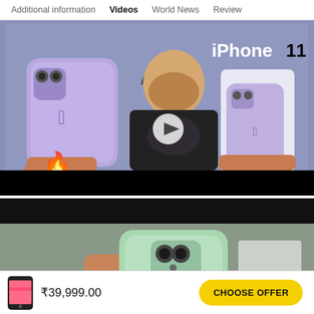Additional information   Videos   World News   Review
[Figure (screenshot): Video thumbnail showing a person holding two purple iPhone 11 devices with a question mark and iPhone 11 text in the background, fire emoji at bottom left, play button overlay in center. Black bar at bottom.]
[Figure (screenshot): Second video thumbnail showing a close-up of a green iPhone 11 being held, with a black bar at the top.]
₹39,999.00
CHOOSE OFFER